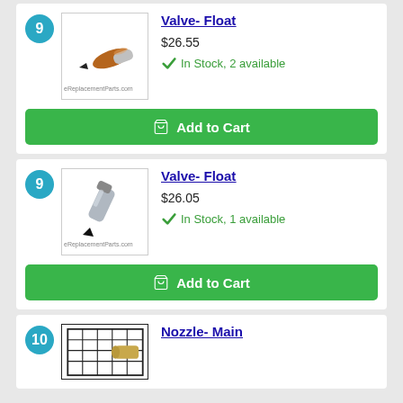[Figure (photo): Float valve product image - copper/chrome needle valve]
Valve- Float
$26.55
In Stock, 2 available
Add to Cart
[Figure (photo): Float valve product image - silver/chrome needle valve]
Valve- Float
$26.05
In Stock, 1 available
Add to Cart
[Figure (photo): Nozzle - Main product image]
Nozzle- Main